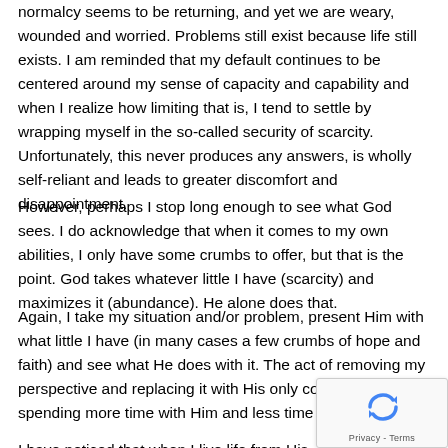normalcy seems to be returning, and yet we are weary, wounded and worried. Problems still exist because life still exists. I am reminded that my default continues to be centered around my sense of capacity and capability and when I realize how limiting that is, I tend to settle by wrapping myself in the so-called security of scarcity. Unfortunately, this never produces any answers, is wholly self-reliant and leads to greater discomfort and disappointment.
However, perhaps I stop long enough to see what God sees. I do acknowledge that when it comes to my own abilities, I only have some crumbs to offer, but that is the point. God takes whatever little I have (scarcity) and maximizes it (abundance). He alone does that.
Again, I take my situation and/or problem, present Him with what little I have (in many cases a few crumbs of hope and faith) and see what He does with it. The act of removing my perspective and replacing it with His only comes from spending more time with Him and less time with me.
I have noticed that when I live life from His abundance perspective, my capacity and capability increase. I am more capable of giving mercy, love and compassion. I find that I am more patient, less anxious, less combative and quicker to say, "I am sorry." Today, let's